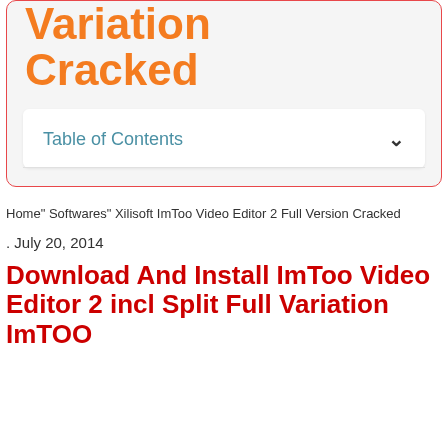Variation Cracked
Table of Contents
Home" Softwares" Xilisoft ImToo Video Editor 2 Full Version Cracked
. July 20, 2014
Download And Install ImToo Video Editor 2 incl Split Full Variation ImTOO